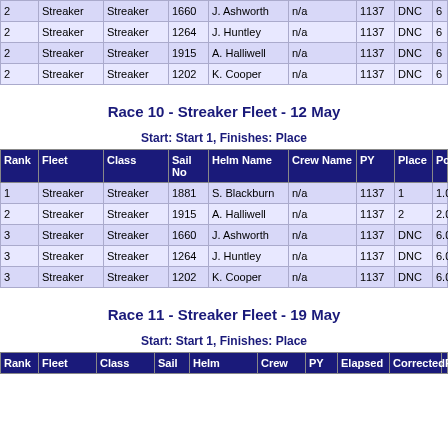| Rank | Fleet | Class | Sail No | Helm Name | Crew Name | PY | Place | Points |
| --- | --- | --- | --- | --- | --- | --- | --- | --- |
| 2 | Streaker | Streaker | 1660 | J. Ashworth | n/a | 1137 | DNC | 6 |
| 2 | Streaker | Streaker | 1264 | J. Huntley | n/a | 1137 | DNC | 6 |
| 2 | Streaker | Streaker | 1915 | A. Halliwell | n/a | 1137 | DNC | 6 |
| 2 | Streaker | Streaker | 1202 | K. Cooper | n/a | 1137 | DNC | 6 |
Race 10 - Streaker Fleet - 12 May
Start: Start 1, Finishes: Place
| Rank | Fleet | Class | Sail No | Helm Name | Crew Name | PY | Place | Points |
| --- | --- | --- | --- | --- | --- | --- | --- | --- |
| 1 | Streaker | Streaker | 1881 | S. Blackburn | n/a | 1137 | 1 | 1.0 |
| 2 | Streaker | Streaker | 1915 | A. Halliwell | n/a | 1137 | 2 | 2.0 |
| 3 | Streaker | Streaker | 1660 | J. Ashworth | n/a | 1137 | DNC | 6.0 |
| 3 | Streaker | Streaker | 1264 | J. Huntley | n/a | 1137 | DNC | 6.0 |
| 3 | Streaker | Streaker | 1202 | K. Cooper | n/a | 1137 | DNC | 6.0 |
Race 11 - Streaker Fleet - 19 May
Start: Start 1, Finishes: Place
| Rank | Fleet | Class | Sail | Helm | Crew | PY | Elapsed | Corrected | P |
| --- | --- | --- | --- | --- | --- | --- | --- | --- | --- |